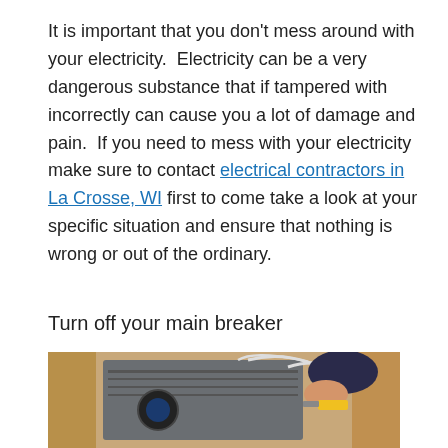It is important that you don't mess around with your electricity.  Electricity can be a very dangerous substance that if tampered with incorrectly can cause you a lot of damage and pain.  If you need to mess with your electricity make sure to contact electrical contractors in La Crosse, WI first to come take a look at your specific situation and ensure that nothing is wrong or out of the ordinary.
Turn off your main breaker
[Figure (photo): A person working on an electrical breaker panel installed between wooden wall studs, using pliers or a tool, with wires visible.]